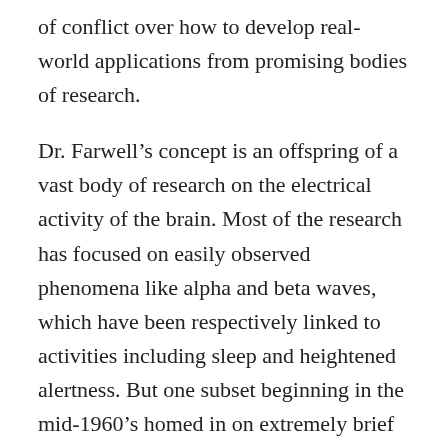of conflict over how to develop real-world applications from promising bodies of research.
Dr. Farwell's concept is an offspring of a vast body of research on the electrical activity of the brain. Most of the research has focused on easily observed phenomena like alpha and beta waves, which have been respectively linked to activities including sleep and heightened alertness. But one subset beginning in the mid-1960's homed in on extremely brief electrical wave patterns associated with recognition of familiar sounds, smells and sights.
The most widely studied of such event-related changes is a split-second bump in electrical